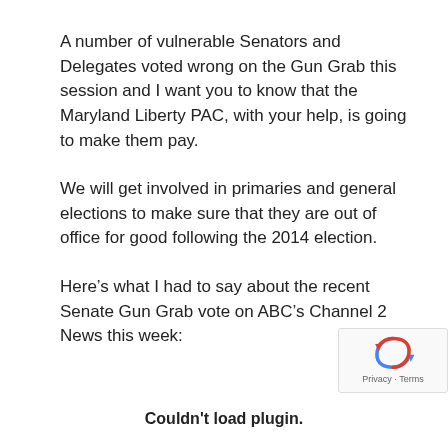A number of vulnerable Senators and Delegates voted wrong on the Gun Grab this session and I want you to know that the Maryland Liberty PAC, with your help, is going to make them pay.
We will get involved in primaries and general elections to make sure that they are out of office for good following the 2014 election.
Here’s what I had to say about the recent Senate Gun Grab vote on ABC’s Channel 2 News this week:
[Figure (other): reCAPTCHA badge with privacy and terms link]
Couldn't load plugin.